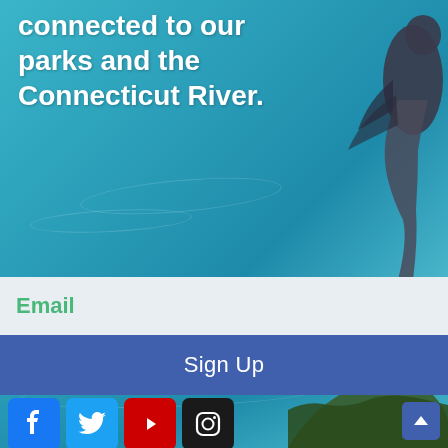[Figure (photo): Teal/blue water background with a dark heron bird visible in upper right and lower right portions of the image]
connected to our parks and the Connecticut River.
Email
Sign Up
[Figure (infographic): Four social media icons: Facebook (blue), Twitter (light blue), YouTube (red), Instagram (dark/black)]